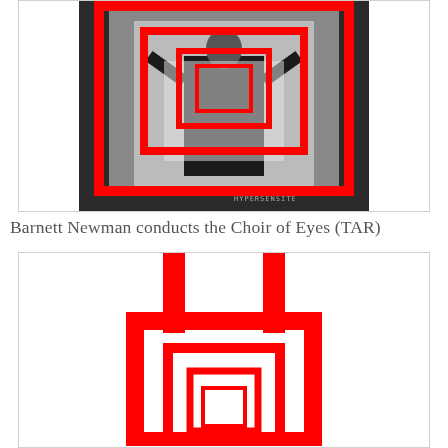[Figure (photo): Black and white photograph of a man in a suit with arms raised, overlaid with red nested rectangle frames forming a target-like composition. Text 'HYPERSENSITE' visible at bottom right of image.]
Barnett Newman conducts the Choir of Eyes (TAR)
[Figure (illustration): Red geometric line drawing on white background showing nested rectangular frames with two vertical bars extending upward from the top of the outer rectangle, resembling an abstract architectural or target-like diagram.]